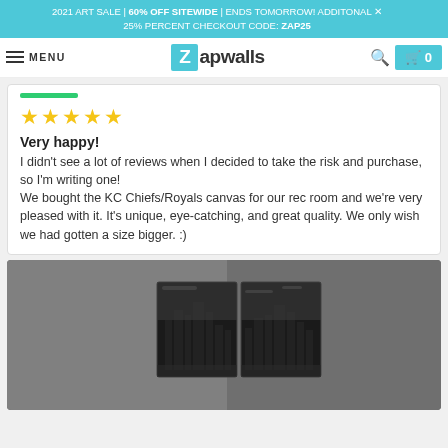2021 ART SALE | 60% OFF SITEWIDE | ENDS TOMORROW! ADDITONAL × 25% PERCENT CHECKOUT CODE: ZAP25
MENU  Zapwalls  🔍  🛒 0
Very happy!
I didn't see a lot of reviews when I decided to take the risk and purchase, so I'm writing one!
We bought the KC Chiefs/Royals canvas for our rec room and we're very pleased with it. It's unique, eye-catching, and great quality. We only wish we had gotten a size bigger. :)
[Figure (photo): Canvas wall art showing a black and white city skyline (Kansas City) mounted on a wall, displayed as a multi-panel canvas print]